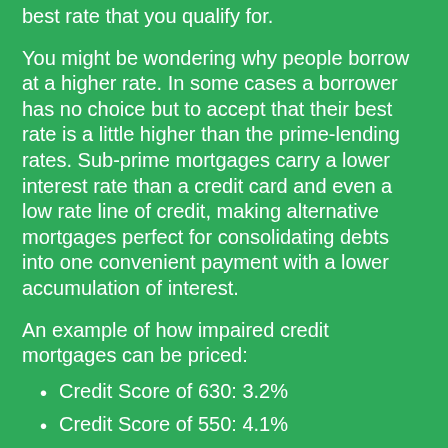best rate that you qualify for.
You might be wondering why people borrow at a higher rate. In some cases a borrower has no choice but to accept that their best rate is a little higher than the prime-lending rates. Sub-prime mortgages carry a lower interest rate than a credit card and even a low rate line of credit, making alternative mortgages perfect for consolidating debts into one convenient payment with a lower accumulation of interest.
An example of how impaired credit mortgages can be priced:
Credit Score of 630: 3.2%
Credit Score of 550: 4.1%
Credit Score of 500: 4.7%
Credit Score less than 500: 6%.